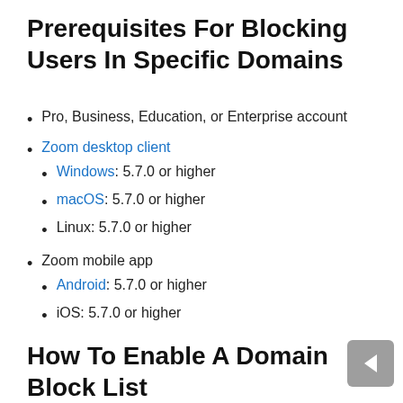Prerequisites For Blocking Users In Specific Domains
Pro, Business, Education, or Enterprise account
Zoom desktop client
Windows: 5.7.0 or higher
macOS: 5.7.0 or higher
Linux: 5.7.0 or higher
Zoom mobile app
Android: 5.7.0 or higher
iOS: 5.7.0 or higher
How To Enable A Domain Block List